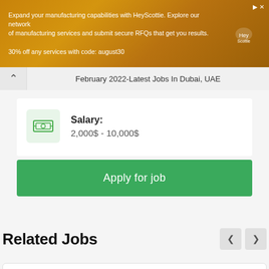[Figure (screenshot): Ad banner for HeyScottie manufacturing services with orange/golden background and white dog logo. Text: 'Expand your manufacturing capabilities with HeyScottie. Explore our network of manufacturing services and submit secure RFQs that get you results. 30% off any services with code: august30']
February 2022-Latest Jobs In Dubai, UAE
Salary: 2,000$ - 10,000$
Apply for job
Related Jobs
Alef Education Careers Announced